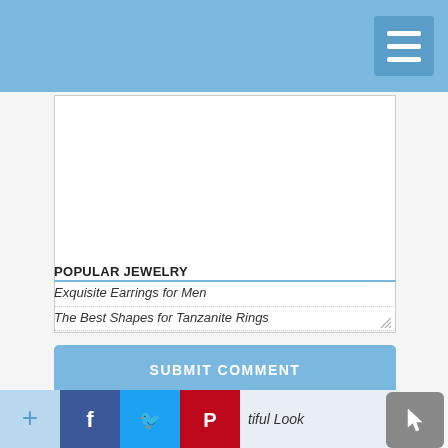[Figure (screenshot): Blue navigation header bar with hamburger menu icon (three horizontal white lines) in the top right corner]
[Figure (screenshot): White textarea comment input box with resize handle in bottom-right corner]
SUBMIT COMMENT
POPULAR JEWELRY
Exquisite Earrings for Men
The Best Shapes for Tanzanite Rings
tiful Look
[Figure (screenshot): Social sharing bar with four icon buttons: a light-blue plus/add button, a blue Facebook button, a blue Twitter button, and a red Pinterest button, with text 'tiful Look' and a gray cursor/pointer button on the right]